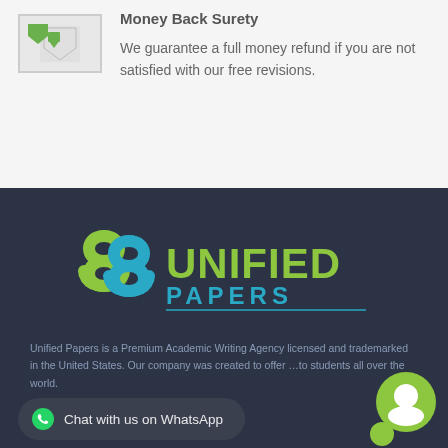[Figure (illustration): Small icon image placeholder with green pencil/edit icon]
Money Back Surety
We guarantee a full money refund if you are not satisfied with our free revisions.
[Figure (logo): Unified Papers logo: interlocking S-shapes in green and teal on left, 'UNIFIED' in bold green text and 'PAPERS' in teal below on dark background]
Unified Papers is a Premium Academic Writing Agency licensed and trademarked in the United States. Our company was created to offer …to students all over the world.
Chat with us on WhatsApp